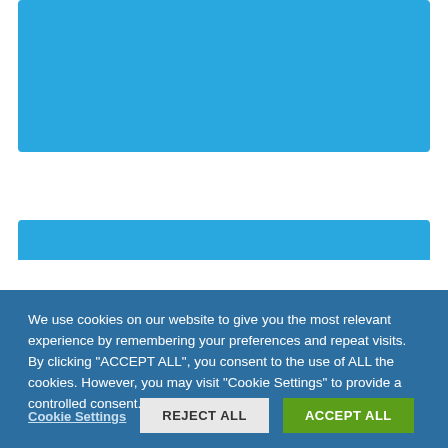[Figure (screenshot): Blue rectangular block at the top of the page representing a website screenshot background]
[Figure (screenshot): Partial blue rectangular block below the white gap, representing another website element]
We use cookies on our website to give you the most relevant experience by remembering your preferences and repeat visits. By clicking "ACCEPT ALL", you consent to the use of ALL the cookies. However, you may visit "Cookie Settings" to provide a controlled consent.
Cookie Settings
REJECT ALL
ACCEPT ALL